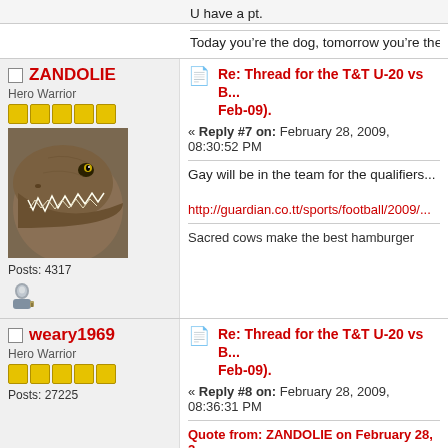U have a pt.
Today you're the dog, tomorrow you're the hydra...
ZANDOLIE
Hero Warrior
Posts: 4317
Re: Thread for the T&T U-20 vs B... Feb-09).
Reply #7 on: February 28, 2009, 08:30:52 PM
Gay will be in the team for the qualifiers...
http://guardian.co.tt/sports/football/2009/...
Sacred cows make the best hamburger
weary1969
Hero Warrior
Posts: 27225
Re: Thread for the T&T U-20 vs B... Feb-09).
Reply #8 on: February 28, 2009, 08:36:31 PM
Quote from: ZANDOLIE on February 28, 2...